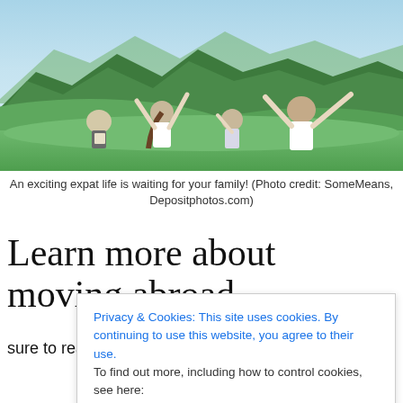[Figure (photo): A family of four (two adults, two children) sitting on a green hillside with their backs to the camera, arms raised in celebration, overlooking green mountain valleys with forested peaks in the background under a blue sky.]
An exciting expat life is waiting for your family! (Photo credit: SomeMeans, Depositphotos.com)
Learn more about moving abroad
sure to read this list of eight compelling